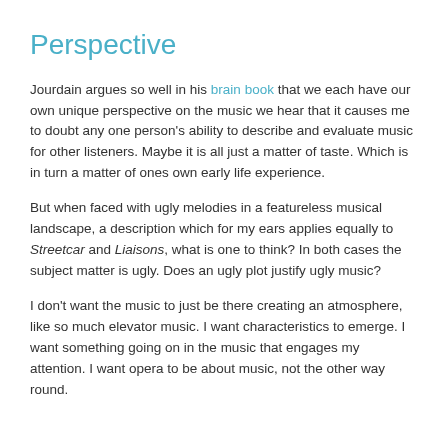Perspective
Jourdain argues so well in his brain book that we each have our own unique perspective on the music we hear that it causes me to doubt any one person's ability to describe and evaluate music for other listeners. Maybe it is all just a matter of taste. Which is in turn a matter of ones own early life experience.
But when faced with ugly melodies in a featureless musical landscape, a description which for my ears applies equally to Streetcar and Liaisons, what is one to think? In both cases the subject matter is ugly. Does an ugly plot justify ugly music?
I don't want the music to just be there creating an atmosphere, like so much elevator music. I want characteristics to emerge. I want something going on in the music that engages my attention. I want opera to be about music, not the other way round.